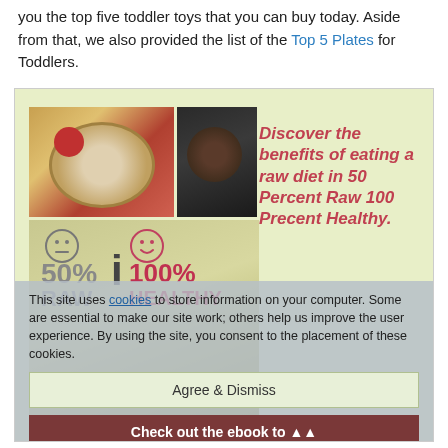you the top five toddler toys that you can buy today. Aside from that, we also provided the list of the Top 5 Plates for Toddlers.
[Figure (infographic): Advertisement image for an ebook about raw diet. Shows a food collage on the left (colorful bowl, mortar and pestle, etc.) and text on the right: 'Discover the benefits of eating a raw diet in 50 Percent Raw 100 Precent Healthy.' Overlaid with a cookie consent banner: 'This site uses cookies to store information on your computer. Some are essential to make our site work; others help us improve the user experience. By using the site, you consent to the placement of these cookies.' with 'Agree & Dismiss' and 'Check out the ebook to' buttons.]